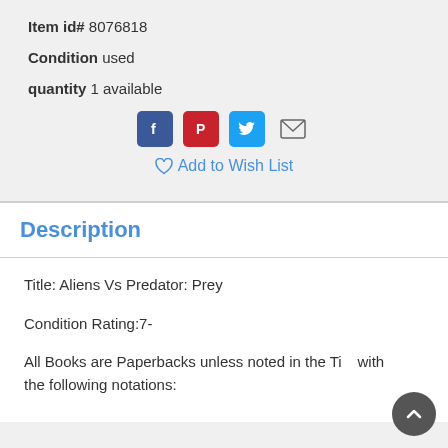Item id# 8076818
Condition used
quantity 1 available
[Figure (other): Social sharing icons: Facebook, Pinterest, Twitter, Email]
Add to Wish List
Description
Title: Aliens Vs Predator: Prey
Condition Rating:7-
All Books are Paperbacks unless noted in the Title with the following notations: